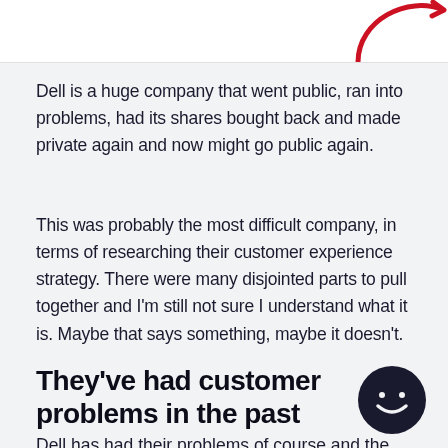[Figure (illustration): Partial view of a red curved arrow (circular refresh/cycle arrow) visible in the top-right corner on a white background strip]
Dell is a huge company that went public, ran into problems, had its shares bought back and made private again and now might go public again.
This was probably the most difficult company, in terms of researching their customer experience strategy. There were many disjointed parts to pull together and I'm still not sure I understand what it is. Maybe that says something, maybe it doesn't.
They've had customer problems in the past
Dell has had their problems of course and the
[Figure (illustration): Dark circular chat/message icon with a white smiley face, positioned in the bottom-right corner]